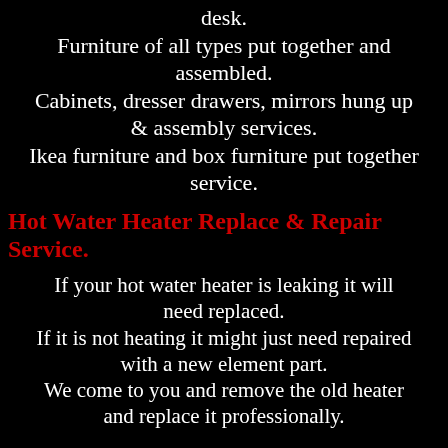desk. Furniture of all types put together and assembled. Cabinets, dresser drawers, mirrors hung up & assembly services. Ikea furniture and box furniture put together service.
Hot Water Heater Replace & Repair Service.
If your hot water heater is leaking it will need replaced. If it is not heating it might just need repaired with a new element part. We come to you and remove the old heater and replace it professionally.